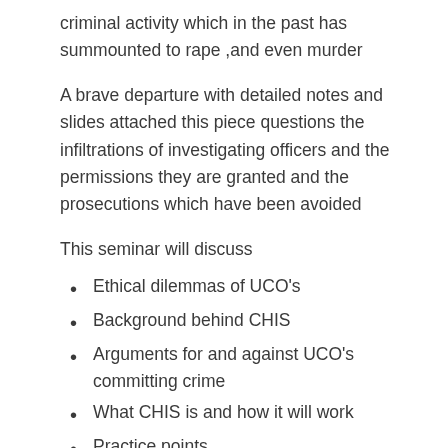criminal activity which in the past has summounted to rape ,and even murder
A brave departure with detailed notes and slides attached this piece questions the infiltrations of investigating officers and the permissions they are granted and the prosecutions which have been avoided
This seminar will discuss
Ethical dilemmas of UCO’s
Background behind CHIS
Arguments for and against UCO’s committing crime
What CHIS is and how it will work
Practice points
Law Friends Community
To contact the members on their behalf directly to